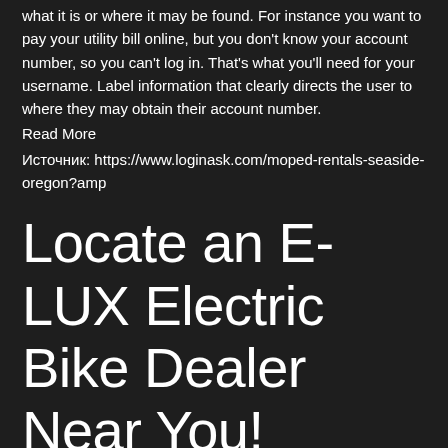what it is or where it may be found. For instance you want to pay your utility bill online, but you don't know your account number, so you can't log in. That's what you'll need for your username. Label information that clearly directs the user to where they may obtain their account number.
Read More
Источник: https://www.loginask.com/moped-rentals-seaside-oregon?amp
Locate an E-LUX Electric Bike Dealer Near You!